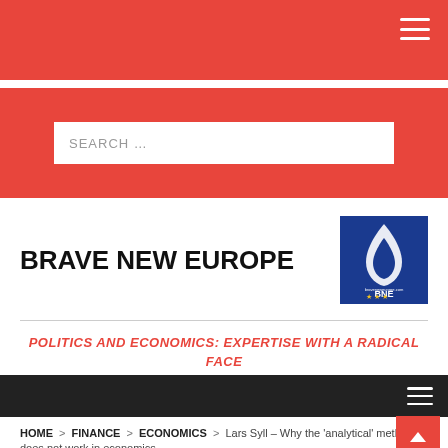BRAVE NEW EUROPE
[Figure (logo): Brave New Europe (BNE) logo — blue square with white flame/droplet icon and stars below]
POLITICS AND ECONOMICS: EXPERTISE WITH A RADICAL FACE
HOME > FINANCE > ECONOMICS > Lars Syll – Why the 'analytical' method does not work in economics
Lars Syll – Why the 'analytical'